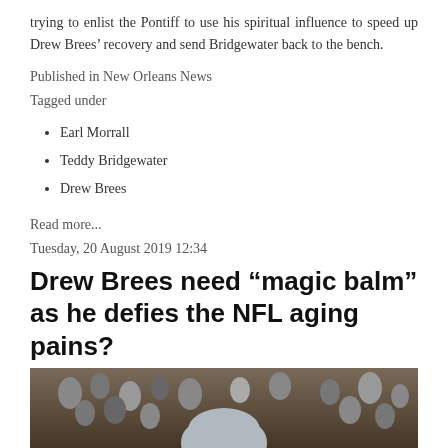trying to enlist the Pontiff to use his spiritual influence to speed up Drew Brees’ recovery and send Bridgewater back to the bench.
Published in New Orleans News
Tagged under
Earl Morrall
Teddy Bridgewater
Drew Brees
Read more...
Tuesday, 20 August 2019 12:34
Drew Brees need "magic balm" as he defies the NFL aging pains?
[Figure (photo): Photo of a man (likely a coach or player) in the foreground with a crowd of spectators in the background]